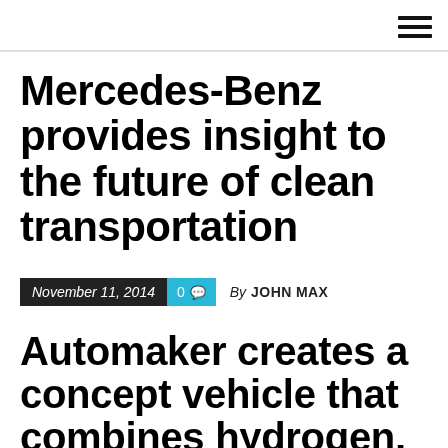Mercedes-Benz provides insight to the future of clean transportation
November 11, 2014   0   By JOHN MAX
Automaker creates a concept vehicle that combines hydrogen, solar, and wind